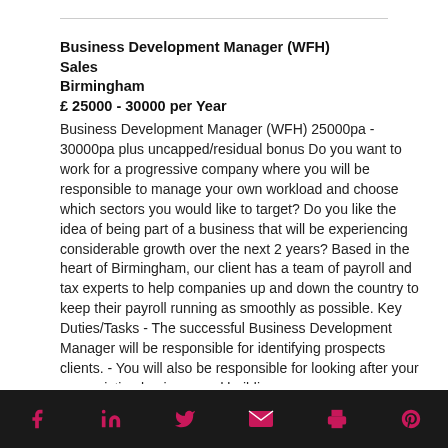Business Development Manager (WFH)
Sales
Birmingham
£ 25000 - 30000 per Year
Business Development Manager (WFH) 25000pa - 30000pa plus uncapped/residual bonus Do you want to work for a progressive company where you will be responsible to manage your own workload and choose which sectors you would like to target? Do you like the idea of being part of a business that will be experiencing considerable growth over the next 2 years? Based in the heart of Birmingham, our client has a team of payroll and tax experts to help companies up and down the country to keep their payroll running as smoothly as possible. Key Duties/Tasks - The successful Business Development Manager will be responsible for identifying prospects clients. - You will also be responsible for looking after your own existing business and building
Social share icons: Facebook, LinkedIn, Twitter, Email, Print, Pinterest